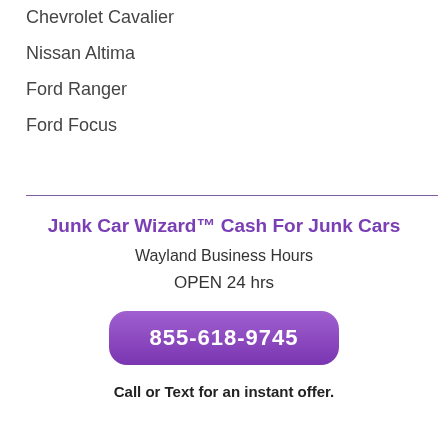Chevrolet Cavalier
Nissan Altima
Ford Ranger
Ford Focus
Junk Car Wizard™ Cash For Junk Cars
Wayland Business Hours
OPEN 24 hrs
855-618-9745
Call or Text for an instant offer.